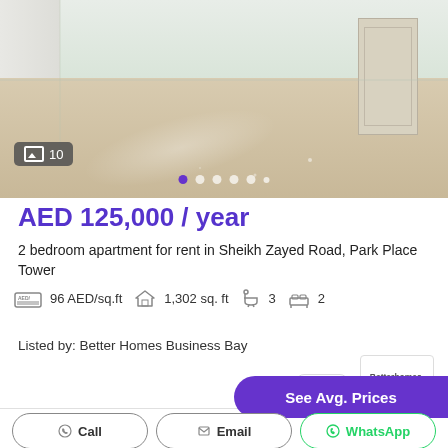[Figure (photo): Interior photo of an empty apartment room with shiny marble/tile floor, white walls, and a door visible on the right side. Image carousel showing 10 photos with navigation dots.]
AED 125,000 / year
2 bedroom apartment for rent in Sheikh Zayed Road, Park Place Tower
96 AED/sq.ft  1,302 sq. ft  3  2
Listed by: Better Homes Business Bay
See Avg. Prices
Call  Email  WhatsApp